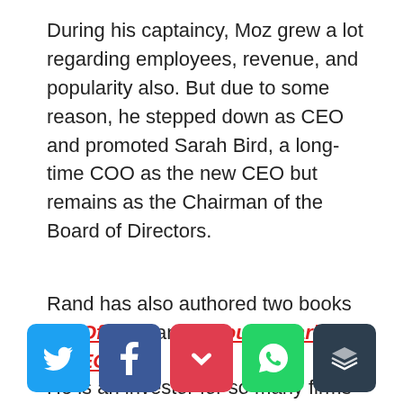During his captaincy, Moz grew a lot regarding employees, revenue, and popularity also. But due to some reason, he stepped down as CEO and promoted Sarah Bird, a long-time COO as the new CEO but remains as the Chairman of the Board of Directors.
Rand has also authored two books Art Of SEO and Inbound Marketing & SEO.
He is an investor for so many firms and
[Figure (other): Social sharing buttons: Twitter, Facebook, Pocket, WhatsApp, Buffer]